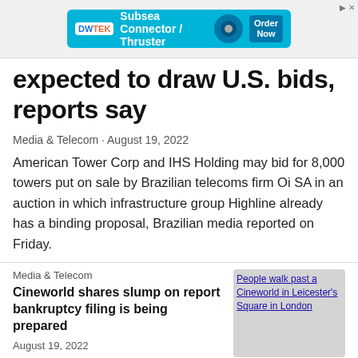[Figure (other): Advertisement banner for DWTEK Subsea Connector / Thruster with Order Now button]
expected to draw U.S. bids, reports say
Media & Telecom · August 19, 2022
American Tower Corp and IHS Holding may bid for 8,000 towers put on sale by Brazilian telecoms firm Oi SA in an auction in which infrastructure group Highline already has a binding proposal, Brazilian media reported on Friday.
Media & Telecom
Cineworld shares slump on report bankruptcy filing is being prepared
August 19, 2022
[Figure (photo): People walk past a Cineworld in Leicester's Square in London]